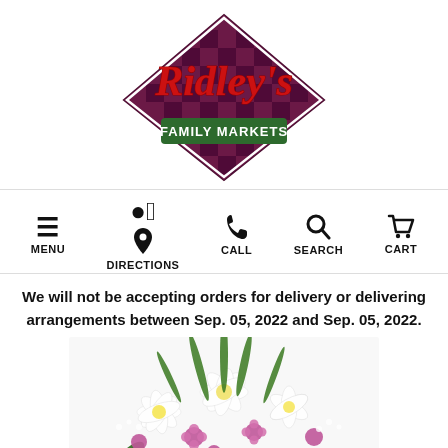[Figure (logo): Ridley's Family Markets logo — diamond checkered pattern with red script 'Ridley's' text and green 'FAMILY MARKETS' banner]
[Figure (infographic): Navigation bar with five icons and labels: hamburger menu (MENU), map pin (DIRECTIONS), phone (CALL), magnifying glass (SEARCH), shopping cart (CART)]
We will not be accepting orders for delivery or delivering arrangements between Sep. 05, 2022 and Sep. 05, 2022.
[Figure (photo): Floral arrangement with white lilies, pink/purple flowers, and green foliage]